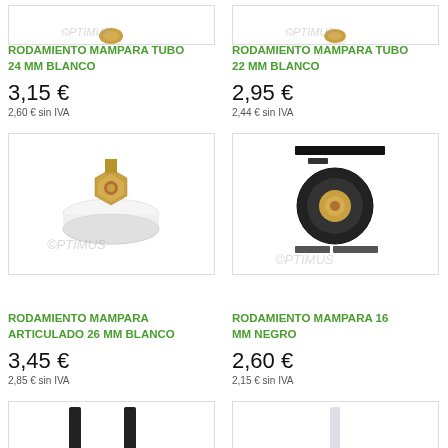[Figure (photo): White roller bearing with brass fitting for 24mm tube, OPTIMUS watermark, partially cropped at top]
RODAMIENTO MAMPARA TUBO 24 MM BLANCO
3,15 €
2,60 € sin IVA
[Figure (photo): White roller bearing with brass fitting for 22mm tube, OPTIMUS watermark, partially cropped at top]
RODAMIENTO MAMPARA TUBO 22 MM BLANCO
2,95 €
2,44 € sin IVA
[Figure (photo): White articulated mampara bearing 26mm with brass nut fitting, OPTIMUS watermark]
RODAMIENTO MAMPARA ARTICULADO 26 MM BLANCO
3,45 €
2,85 € sin IVA
[Figure (photo): Black roller bearing 16mm with brass center fitting, OPTIMUS watermark, black bar censors]
RODAMIENTO MAMPARA 16 MM NEGRO
2,60 €
2,15 € sin IVA
[Figure (photo): Black and transparent plastic shower screen guide clips, OPTIMUS watermark, partially cropped]
[Figure (photo): White transparent plastic shower screen guide clip, OPTIMUS watermark, partially cropped]